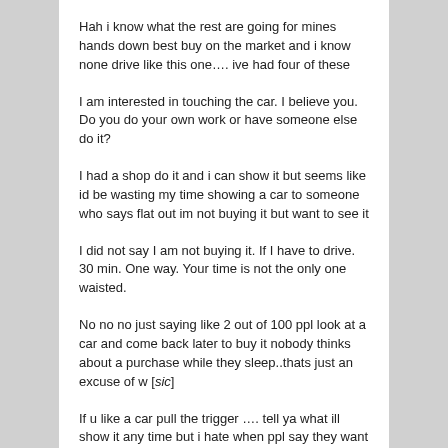Hah i know what the rest are going for mines hands down best buy on the market and i know none drive like this one…. ive had four of these
I am interested in touching the car. I believe you. Do you do your own work or have someone else do it?
I had a shop do it and i can show it but seems like id be wasting my time showing a car to someone who says flat out im not buying it but want to see it
I did not say I am not buying it. If I have to drive. 30 min. One way. Your time is not the only one waisted.
No no no just saying like 2 out of 100 ppl look at a car and come back later to buy it nobody thinks about a purchase while they sleep..thats just an excuse of w [sic]
If u like a car pull the trigger …. tell ya what ill show it any time but i hate when ppl say they want to thnk abou it that